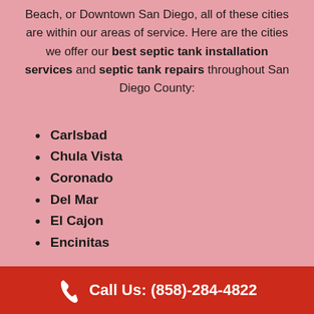Beach, or Downtown San Diego, all of these cities are within our areas of service. Here are the cities we offer our best septic tank installation services and septic tank repairs throughout San Diego County:
Carlsbad
Chula Vista
Coronado
Del Mar
El Cajon
Encinitas
Escondido
Imperial Beach
La Mesa
Call Us: (858)-284-4822